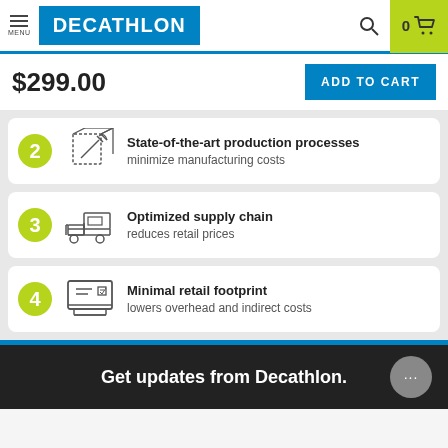MENU | DECATHLON | 0 cart
$299.00  ADD TO CART
2 State-of-the-art production processes — minimize manufacturing costs
3 Optimized supply chain — reduces retail prices
4 Minimal retail footprint — lowers overhead and indirect costs
Get updates from Decathlon.